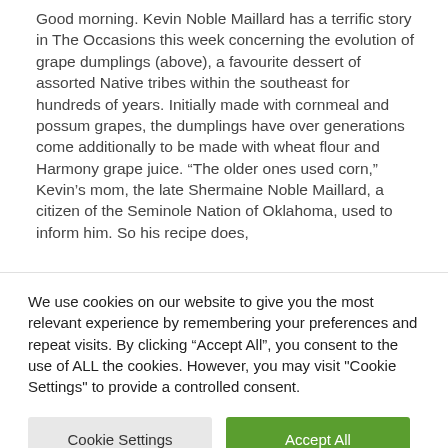Good morning. Kevin Noble Maillard has a terrific story in The Occasions this week concerning the evolution of grape dumplings (above), a favourite dessert of assorted Native tribes within the southeast for hundreds of years. Initially made with cornmeal and possum grapes, the dumplings have over generations come additionally to be made with wheat flour and Harmony grape juice. “The older ones used corn,” Kevin’s mom, the late Shermaine Noble Maillard, a citizen of the Seminole Nation of Oklahoma, used to inform him. So his recipe does,
We use cookies on our website to give you the most relevant experience by remembering your preferences and repeat visits. By clicking “Accept All”, you consent to the use of ALL the cookies. However, you may visit "Cookie Settings" to provide a controlled consent.